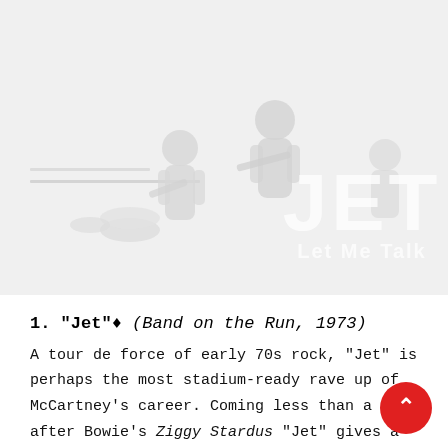[Figure (photo): Faded/washed-out grayscale photo of a band or musicians on stage, with large white semi-transparent text 'JET' and subtitle 'Let Me Talk' overlaid in the bottom right corner. The image has a very light, almost white appearance.]
1. "Jet"♦ (Band on the Run, 1973)
A tour de force of early 70s rock, "Jet" is perhaps the most stadium-ready rave up of McCartney's career. Coming less than a year after Bowie's Ziggy Stardust, "Jet" gives a nod to "Suffragette City" not just via the